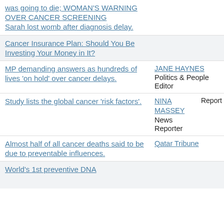was going to die; WOMAN'S WARNING OVER CANCER SCREENING Sarah lost womb after diagnosis delay.
Cancer Insurance Plan: Should You Be Investing Your Money in It?
MP demanding answers as hundreds of lives 'on hold' over cancer delays.
Study lists the global cancer 'risk factors'.
Almost half of all cancer deaths said to be due to preventable influences.
World's 1st preventive DNA